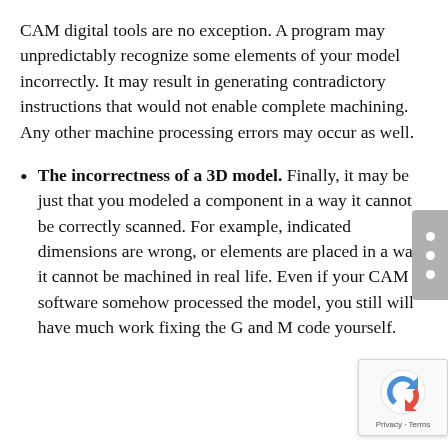CAM digital tools are no exception. A program may unpredictably recognize some elements of your model incorrectly. It may result in generating contradictory instructions that would not enable complete machining. Any other machine processing errors may occur as well.
The incorrectness of a 3D model. Finally, it may be just that you modeled a component in a way it cannot be correctly scanned. For example, indicated dimensions are wrong, or elements are placed in a way it cannot be machined in real life. Even if your CAM software somehow processed the model, you still will have much work fixing the G and M code yourself.